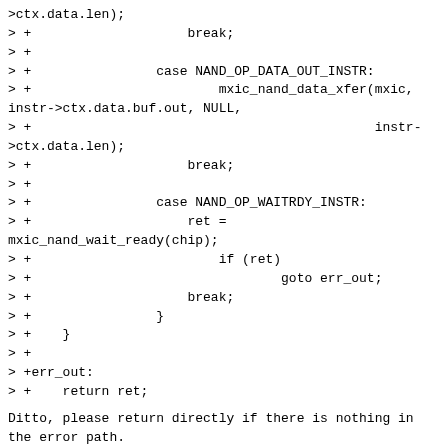>ctx.data.len);
> +                    break;
> +
> +                case NAND_OP_DATA_OUT_INSTR:
> +                        mxic_nand_data_xfer(mxic,
instr->ctx.data.buf.out, NULL,
> +                                            instr->ctx.data.len);
> +                    break;
> +
> +                case NAND_OP_WAITRDY_INSTR:
> +                    ret =
mxic_nand_wait_ready(chip);
> +                        if (ret)
> +                                goto err_out;
> +                    break;
> +                }
> +    }
> +
> +err_out:
> +    return ret;
Ditto, please return directly if there is nothing in the error path.
> +}
> +
> +static const struct nand_controller_ops mxic_nand_controller_ops = {
> +    .exec_op = mxic_nand_exec_op,